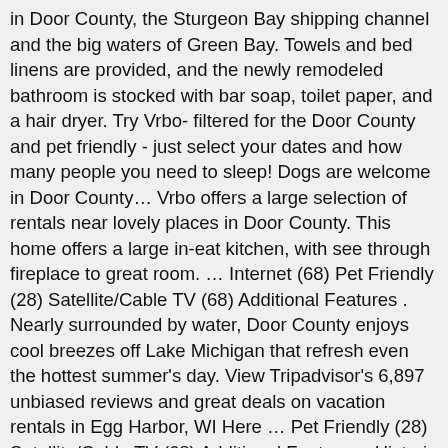in Door County, the Sturgeon Bay shipping channel and the big waters of Green Bay. Towels and bed linens are provided, and the newly remodeled bathroom is stocked with bar soap, toilet paper, and a hair dryer. Try Vrbo- filtered for the Door County and pet friendly - just select your dates and how many people you need to sleep! Dogs are welcome in Door County… Vrbo offers a large selection of rentals near lovely places in Door County. This home offers a large in-eat kitchen, with see through fireplace to great room. … Internet (68) Pet Friendly (28) Satellite/Cable TV (68) Additional Features . Nearly surrounded by water, Door County enjoys cool breezes off Lake Michigan that refresh even the hottest summer's day. View Tripadvisor's 6,897 unbiased reviews and great deals on vacation rentals in Egg Harbor, WI Here … Pet Friendly (28) Satellite/Cable TV (68) Additional Features . Historic Log Cabin by the Bay (Lake View & Access) "Doc's Hideaway" sits at the tip of the Door County peninsula in beautiful Gills Rock, surrounded by lush woods on one side and the picturesque Bay and … Vacation by the lake and have a consummate Door County experience. FUNCTIONAL